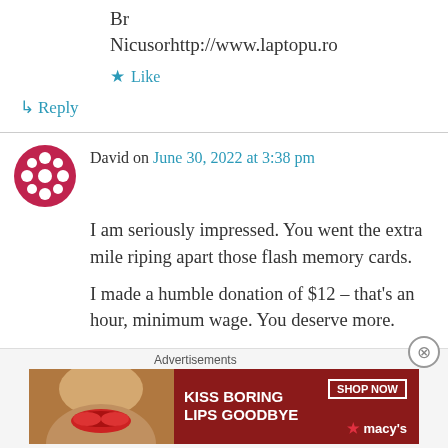Br
Nicusorhttp://www.laptopu.ro
★ Like
↳ Reply
David on June 30, 2022 at 3:38 pm
I am seriously impressed. You went the extra mile riping apart those flash memory cards.
I made a humble donation of $12 – that's an hour, minimum wage. You deserve more.
Advertisements
[Figure (illustration): Macy's advertisement banner: KISS BORING LIPS GOODBYE with SHOP NOW button and Macy's star logo, woman's face with red lips]